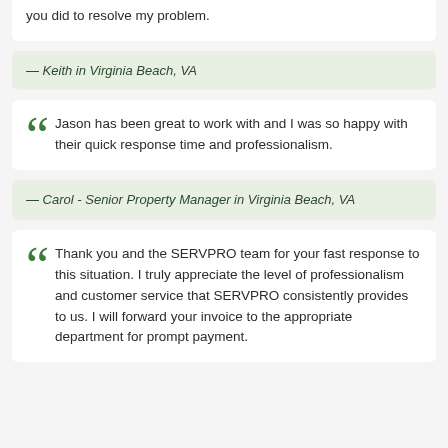you did to resolve my problem.
— Keith in Virginia Beach, VA
Jason has been great to work with and I was so happy with their quick response time and professionalism.
— Carol - Senior Property Manager in Virginia Beach, VA
Thank you and the SERVPRO team for your fast response to this situation. I truly appreciate the level of professionalism and customer service that SERVPRO consistently provides to us. I will forward your invoice to the appropriate department for prompt payment.